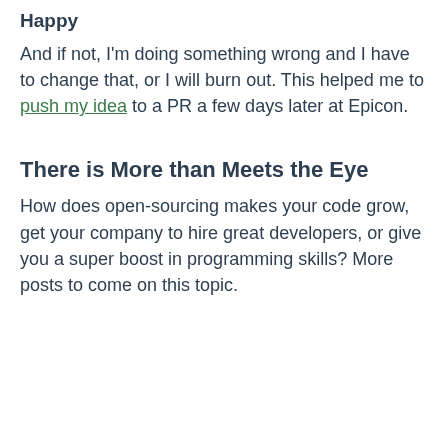Happy
And if not, I'm doing something wrong and I have to change that, or I will burn out. This helped me to push my idea to a PR a few days later at Epicon.
There is More than Meets the Eye
How does open-sourcing makes your code grow, get your company to hire great developers, or give you a super boost in programming skills? More posts to come on this topic.